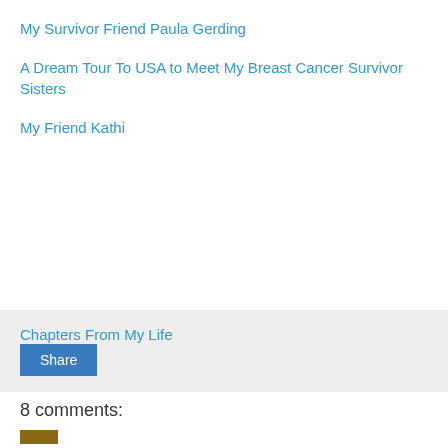My Survivor Friend Paula Gerding
A Dream Tour To USA to Meet My Breast Cancer Survivor Sisters
My Friend Kathi
Chapters From My Life
Share
8 comments: